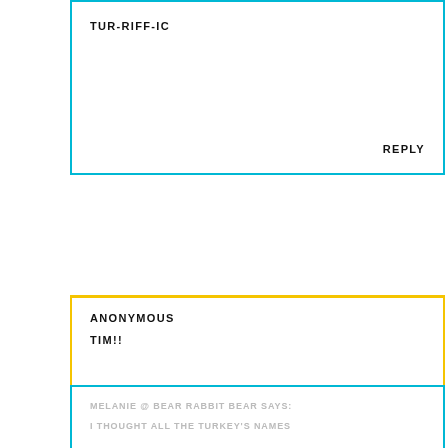TUR-RIFF-IC
REPLY
ANONYMOUS
TIM!!
REPLY
MELANIE @ BEAR RABBIT BEAR SAYS:
I THOUGHT ALL THE TURKEY'S NAMES